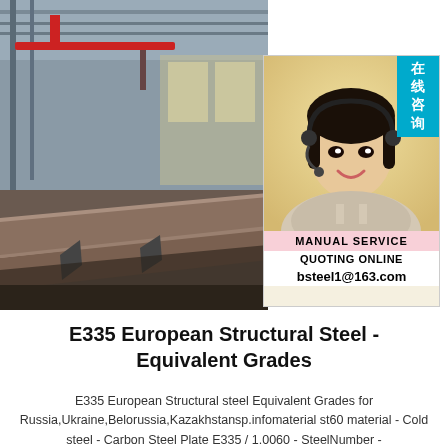[Figure (photo): Composite image: left side shows industrial steel factory interior with overhead red crane, steel plates on floor, large warehouse space with natural light. Right side overlaid with customer service representative (woman wearing headset, smiling) with Chinese text '在线咨询' (Online Consultation) banner in teal on top right corner. Below the person photo are three bars: pink bar reading 'MANUAL SERVICE', white bar reading 'QUOTING ONLINE', white bar reading 'bsteel1@163.com'.]
E335 European Structural Steel - Equivalent Grades
E335 European Structural steel Equivalent Grades for Russia,Ukraine,Belorussia,Kazakhstansp.infomaterial st60 material - Cold steel - Carbon Steel Plate E335 / 1.0060 - SteelNumber -